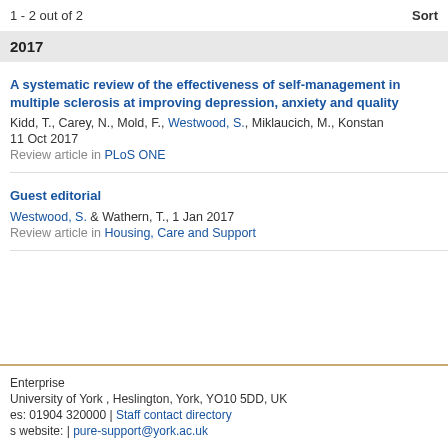1 - 2 out of 2
Sort
2017
A systematic review of the effectiveness of self-management in multiple sclerosis at improving depression, anxiety and quality
Kidd, T., Carey, N., Mold, F., Westwood, S., Miklaucich, M., Konstan... 11 Oct 2017
Review article in PLoS ONE
Guest editorial
Westwood, S. & Wathern, T., 1 Jan 2017
Review article in Housing, Care and Support
Enterprise | University of York , Heslington, York, YO10 5DD, UK | es: 01904 320000 | Staff contact directory | s website: | pure-support@york.ac.uk